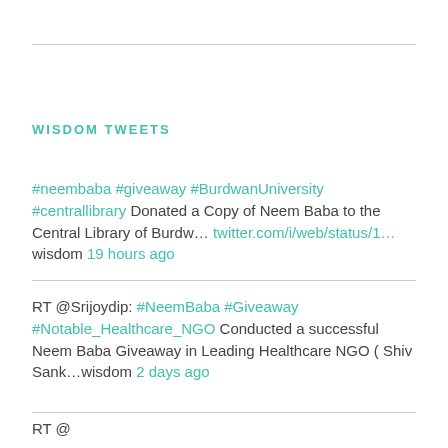WISDOM TWEETS
#neembaba #giveaway #BurdwanUniversity #centrallibrary Donated a Copy of Neem Baba to the Central Library of Burdw… twitter.com/i/web/status/1… wisdom 19 hours ago
RT @Srijoydip: #NeemBaba #Giveaway #Notable_Healthcare_NGO Conducted a successful Neem Baba Giveaway in Leading Healthcare NGO ( Shiv Sank...wisdom 2 days ago
RT @...